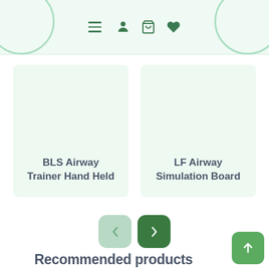Navigation header with hamburger menu, person icon, cart icon, heart icon, and decorative circles
BLS Airway Trainer Hand Held
LF Airway Simulation Board
Recommended products